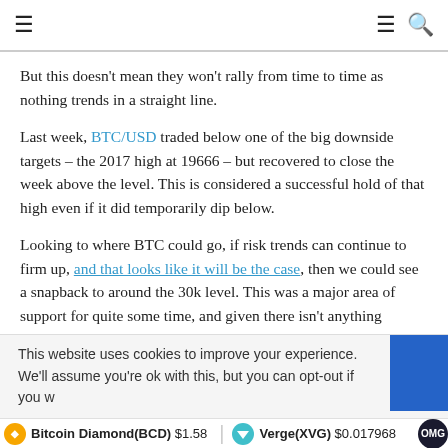≡  ≡ 🔍
But this doesn't mean they won't rally from time to time as nothing trends in a straight line.
Last week, BTC/USD traded below one of the big downside targets – the 2017 high at 19666 – but recovered to close the week above the level. This is considered a successful hold of that high even if it did temporarily dip below.
Looking to where BTC could go, if risk trends can continue to firm up, and that looks like it will be the case, then we could see a snapback to around the 30k level. This was a major area of support for quite some time, and given there isn't anything between here and there it looks possible we see it
This website uses cookies to improve your experience. We'll assume you're ok with this, but you can opt-out if you w
Bitcoin Diamond(BCD) $1.58   Verge(XVG) $0.017968   OMG